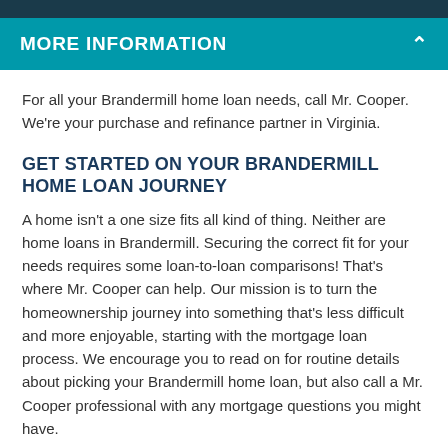MORE INFORMATION
For all your Brandermill home loan needs, call Mr. Cooper. We're your purchase and refinance partner in Virginia.
GET STARTED ON YOUR BRANDERMILL HOME LOAN JOURNEY
A home isn't a one size fits all kind of thing. Neither are home loans in Brandermill. Securing the correct fit for your needs requires some loan-to-loan comparisons! That's where Mr. Cooper can help. Our mission is to turn the homeownership journey into something that's less difficult and more enjoyable, starting with the mortgage loan process. We encourage you to read on for routine details about picking your Brandermill home loan, but also call a Mr. Cooper professional with any mortgage questions you might have.
As you begin searching for home loans, double check your credit